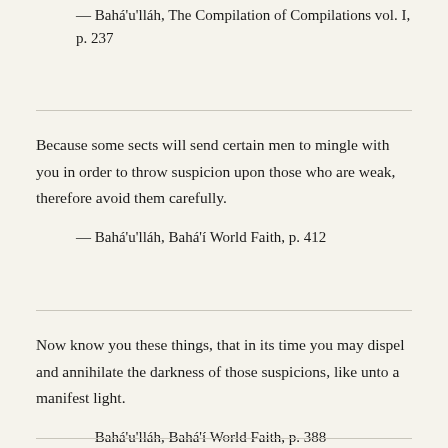— Bahá'u'lláh, The Compilation of Compilations vol. I, p. 237
Because some sects will send certain men to mingle with you in order to throw suspicion upon those who are weak, therefore avoid them carefully.
— Bahá'u'lláh, Bahá'í World Faith, p. 412
Now know you these things, that in its time you may dispel and annihilate the darkness of those suspicions, like unto a manifest light.
— Bahá'u'lláh, Bahá'í World Faith, p. 388